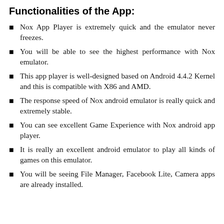Functionalities of the App:
Nox App Player is extremely quick and the emulator never freezes.
You will be able to see the highest performance with Nox emulator.
This app player is well-designed based on Android 4.4.2 Kernel and this is compatible with X86 and AMD.
The response speed of Nox android emulator is really quick and extremely stable.
You can see excellent Game Experience with Nox android app player.
It is really an excellent android emulator to play all kinds of games on this emulator.
You will be seeing File Manager, Facebook Lite, Camera apps are already installed.